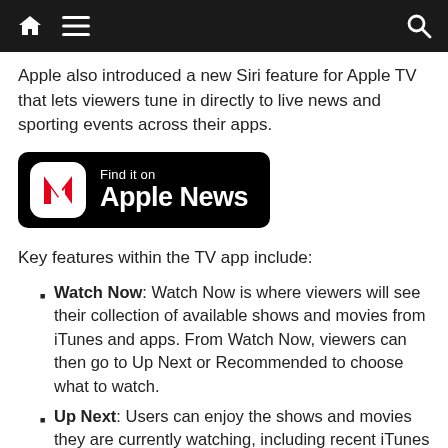navigation bar with home, menu, and search icons
Apple also introduced a new Siri feature for Apple TV that lets viewers tune in directly to live news and sporting events across their apps.
[Figure (logo): Find it on Apple News badge — black rounded rectangle with Apple News icon (white background, red diagonal N logo) and white text 'Find it on Apple News']
Key features within the TV app include:
Watch Now: Watch Now is where viewers will see their collection of available shows and movies from iTunes and apps. From Watch Now, viewers can then go to Up Next or Recommended to choose what to watch.
Up Next: Users can enjoy the shows and movies they are currently watching, including recent iTunes rentals and purchases — all presented in the order they are most likely to